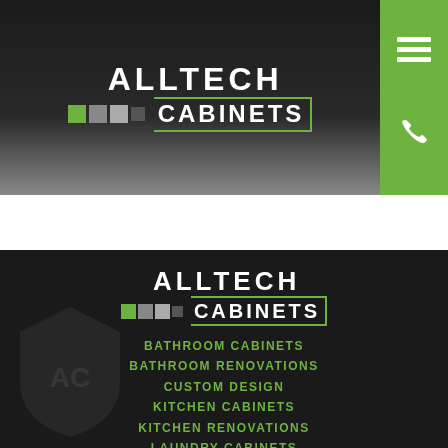[Figure (logo): Alltech Cabinets logo on dark gradient background with green sidebar containing hamburger menu and phone icons]
[Figure (logo): Alltech Cabinets logo repeated on dark background in footer section]
BATHROOM CABINETS
BATHROOM RENOVATIONS
CUSTOM DESIGN
KITCHEN CABINETS
KITCHEN RENOVATIONS
LAUNDRY CABINETS